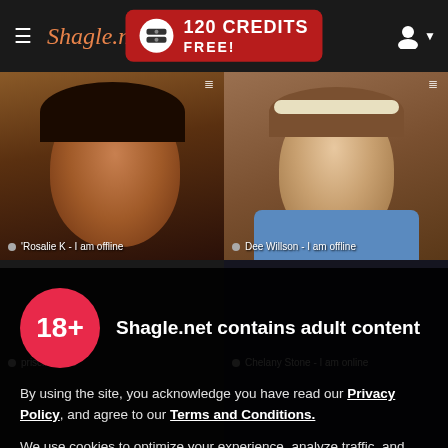≡≡  Shagle.net  |  120 CREDITS FREE!
[Figure (screenshot): Background grid of live cam thumbnails showing two people, with status labels 'Rosalie K - I am offline' and 'Dee Willson - I am offline']
18+  Shagle.net contains adult content
By using the site, you acknowledge you have read our Privacy Policy, and agree to our Terms and Conditions.
We use cookies to optimize your experience, analyze traffic, and deliver more personalized service. To learn more, please see our Privacy Policy.
I AGREE